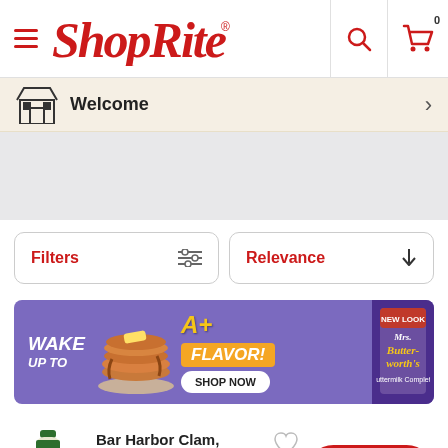[Figure (logo): ShopRite logo in red italic script with hamburger menu icon]
Welcome
[Figure (other): Gray placeholder/ad area]
Filters
Relevance
[Figure (other): Mrs. Butterworth's promotional banner: WAKE UP TO A+ FLAVOR! SHOP NOW]
Bar Harbor Clam, Juice, 8 Fluid ounce
$2.49
$0.31/fl oz
ADD TO CART